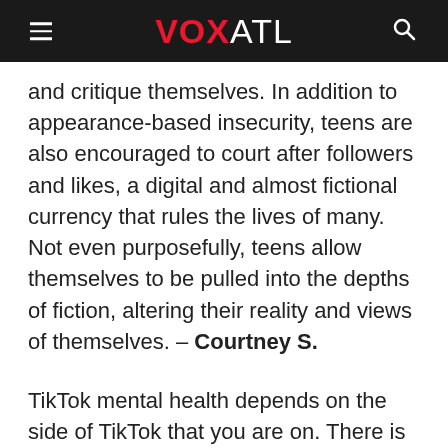VOX ATL
and critique themselves. In addition to appearance-based insecurity, teens are also encouraged to court after followers and likes, a digital and almost fictional currency that rules the lives of many. Not even purposefully, teens allow themselves to be pulled into the depths of fiction, altering their reality and views of themselves. – Courtney S.
TikTok mental health depends on the side of TikTok that you are on. There is the safe side, for people of minorities including but not limited to people who are a part of the LGBTQIA+ community, neurodivergent people, and